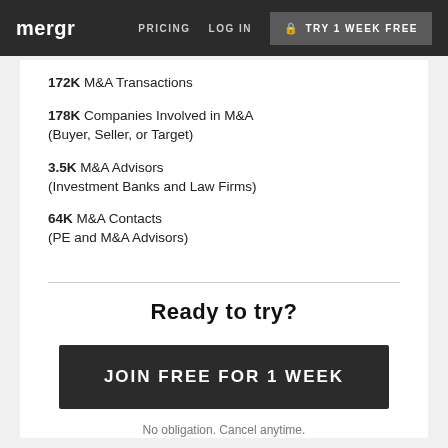mergr | PRICING | LOG IN | TRY 1 WEEK FREE
172K M&A Transactions
178K Companies Involved in M&A (Buyer, Seller, or Target)
3.5K M&A Advisors (Investment Banks and Law Firms)
64K M&A Contacts (PE and M&A Advisors)
Ready to try?
JOIN FREE FOR 1 WEEK
No obligation. Cancel anytime.